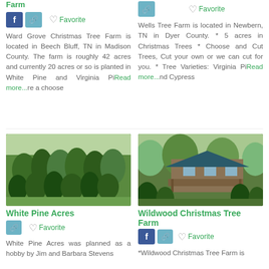Ward Grove Christmas Tree Farm is located in Beech Bluff, TN in Madison County. The farm is roughly 42 acres and currently 20 acres or so is planted in White Pine and Virginia Read more...re a choose
Wells Tree Farm is located in Newbern, TN in Dyer County. * 5 acres in Christmas Trees * Choose and Cut Trees, Cut your own or we can cut for you. * Tree Varieties: Virginia Pi Read more...nd Cypress
White Pine Acres
[Figure (photo): Photo of White Pine Acres Christmas tree farm showing rows of green Christmas trees in a field]
White Pine Acres was planned as a hobby by Jim and Barbara Stevens
Wildwood Christmas Tree Farm
[Figure (photo): Photo of Wildwood Christmas Tree Farm showing a barn/cabin structure with green trees surrounding it]
*Wildwood Christmas Tree Farm is